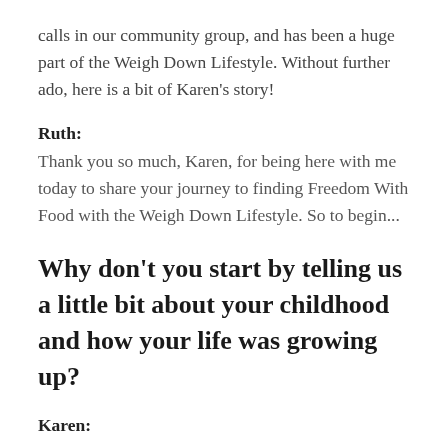calls in our community group, and has been a huge part of the Weigh Down Lifestyle. Without further ado, here is a bit of Karen's story!
Ruth:
Thank you so much, Karen, for being here with me today to share your journey to finding Freedom With Food with the Weigh Down Lifestyle. So to begin...
Why don't you start by telling us a little bit about your childhood and how your life was growing up?
Karen: